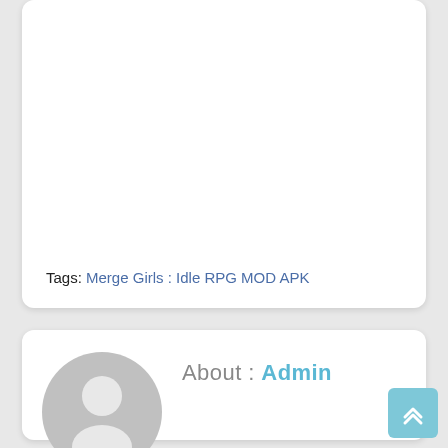Tags: Merge Girls : Idle RPG MOD APK
[Figure (illustration): Generic user avatar icon — grey circle with white silhouette of a person]
About : Admin